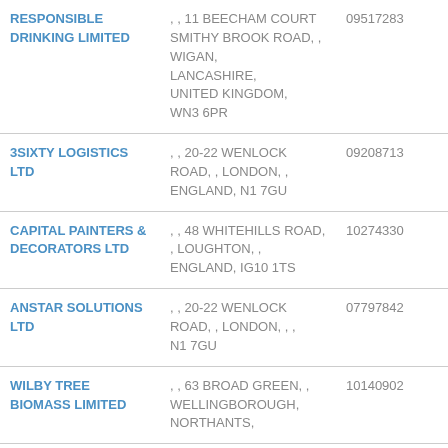| RESPONSIBLE DRINKING LIMITED | , , 11 BEECHAM COURT SMITHY BROOK ROAD, , WIGAN, LANCASHIRE, UNITED KINGDOM, WN3 6PR | 09517283 |
| 3SIXTY LOGISTICS LTD | , , 20-22 WENLOCK ROAD, , LONDON, , ENGLAND, N1 7GU | 09208713 |
| CAPITAL PAINTERS & DECORATORS LTD | , , 48 WHITEHILLS ROAD, , LOUGHTON, , ENGLAND, IG10 1TS | 10274330 |
| ANSTAR SOLUTIONS LTD | , , 20-22 WENLOCK ROAD, , LONDON, , , N1 7GU | 07797842 |
| WILBY TREE BIOMASS LIMITED | , , 63 BROAD GREEN, , WELLINGBOROUGH, NORTHANTS, | 10140902 |